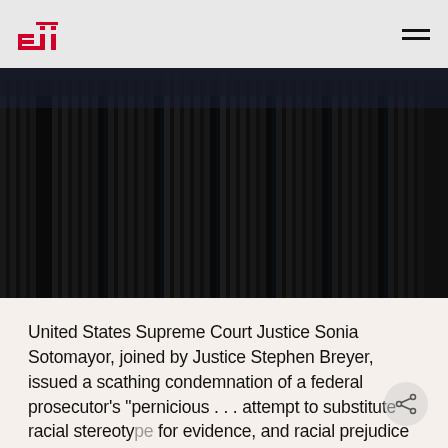eji
[Figure (photo): Dark photograph looking upward at the columns of the United States Supreme Court building at night]
United States Supreme Court Justice Sonia Sotomayor, joined by Justice Stephen Breyer, issued a scathing condemnation of a federal prosecutor's “pernicious… attempt to substitute racial stereotypes for evidence, and racial prejudice for reason” in a Texas